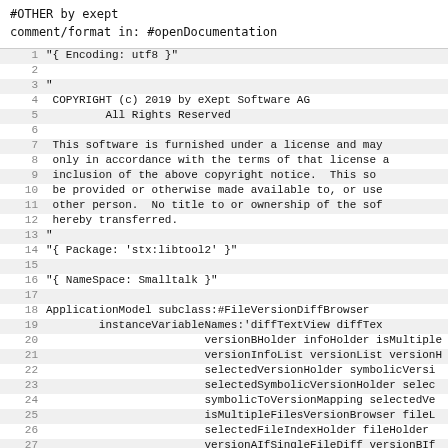#OTHER by exept
comment/format in: #openDocumentation
1  "{ Encoding: utf8 }"
2
3  "
4   COPYRIGHT (c) 2019 by eXept Software AG
5              All Rights Reserved
6
7   This software is furnished under a license and may
8   only in accordance with the terms of that license a
9   inclusion of the above copyright notice.  This so
10   be provided or otherwise made available to, or use
11   other person.  No title to or ownership of the so
12   hereby transferred.
13  "
14  "{ Package: 'stx:libtool2' }"
15
16  "{ NameSpace: Smalltalk }"
17
18  ApplicationModel subclass:#FileVersionDiffBrowser
19          instanceVariableNames:'diffTextView diffTex
20                          versionBHolder infoHolder isMultiple
21                          versionInfoList versionList versionH
22                          selectedVersionHolder symbolicVersi
23                          selectedSymbolicVersionHolder selec
24                          symbolicToVersionMapping selectedVe
25                          isMultipleFilesVersionBrowser fileL
26                          selectedFileIndexHolder fileHolder
27                          versionAIfSingleFileDiff versionBIf
28                          fileIfSingleFileDiff'